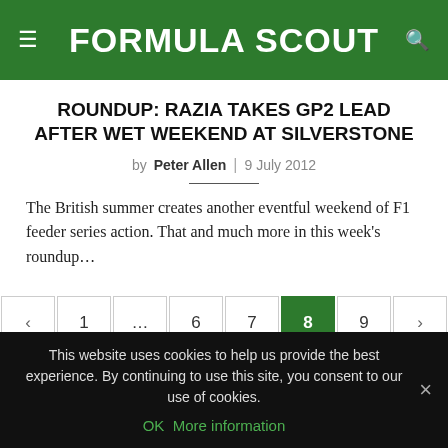FORMULA SCOUT
ROUNDUP: RAZIA TAKES GP2 LEAD AFTER WET WEEKEND AT SILVERSTONE
by Peter Allen | 9 July 2012
The British summer creates another eventful weekend of F1 feeder series action. That and much more in this week's roundup…
Pagination: < 1 … 6 7 8 9 >
This website uses cookies to help us provide the best experience. By continuing to use this site, you consent to our use of cookies. OK More information